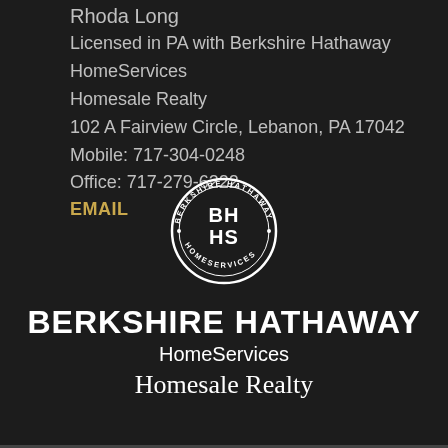Rhoda Long
Licensed in PA with Berkshire Hathaway HomeServices Homesale Realty
102 A Fairview Circle, Lebanon, PA 17042
Mobile: 717-304-0248
Office: 717-279-6222
EMAIL
[Figure (logo): Berkshire Hathaway HomeServices circular logo with BH HS initials and text around the border]
BERKSHIRE HATHAWAY
HomeServices
Homesale Realty